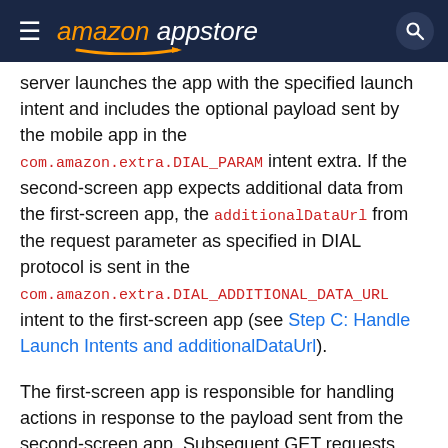amazon appstore
server launches the app with the specified launch intent and includes the optional payload sent by the mobile app in the com.amazon.extra.DIAL_PARAM intent extra. If the second-screen app expects additional data from the first-screen app, the additionalDataUrl from the request parameter as specified in DIAL protocol is sent in the com.amazon.extra.DIAL_ADDITIONAL_DATA_URL intent to the first-screen app (see Step C: Handle Launch Intents and additionalDataUrl).
The first-screen app is responsible for handling actions in response to the payload sent from the second-screen app. Subsequent GET requests